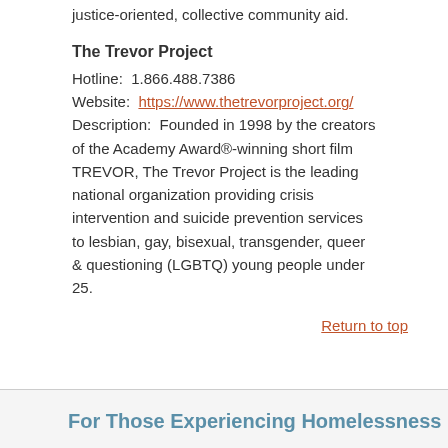justice-oriented, collective community aid.
The Trevor Project
Hotline:  1.866.488.7386
Website:  https://www.thetrevorproject.org/
Description:  Founded in 1998 by the creators of the Academy Award®-winning short film TREVOR, The Trevor Project is the leading national organization providing crisis intervention and suicide prevention services to lesbian, gay, bisexual, transgender, queer & questioning (LGBTQ) young people under 25.
Return to top
For Those Experiencing Homelessness